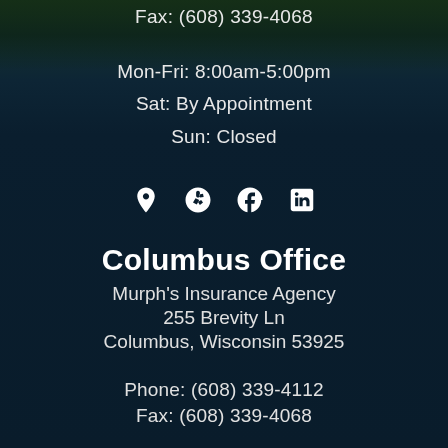Fax: (608) 339-4068
Mon-Fri: 8:00am-5:00pm
Sat: By Appointment
Sun: Closed
[Figure (infographic): Row of 4 social/map icons: map pin, Yelp, Facebook, LinkedIn]
Columbus Office
Murph's Insurance Agency
255 Brevity Ln
Columbus, Wisconsin 53925
Phone: (608) 339-4112
Fax: (608) 339-4068